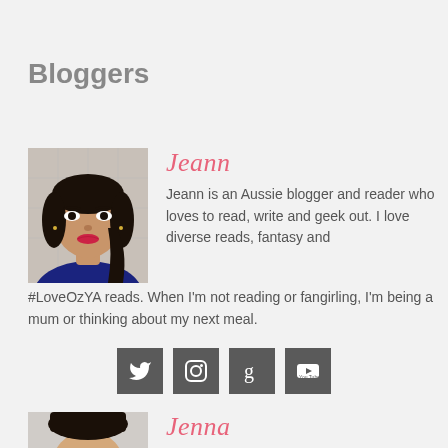Bloggers
[Figure (photo): Photo of Jeann, a young Asian woman with dark hair and red lipstick]
Jeann
Jeann is an Aussie blogger and reader who loves to read, write and geek out. I love diverse reads, fantasy and #LoveOzYA reads. When I'm not reading or fangirling, I'm being a mum or thinking about my next meal.
[Figure (infographic): Four social media icon buttons: Twitter, Instagram, Goodreads, YouTube]
[Figure (photo): Partial photo of Jenna, a young woman with dark straight hair and bangs]
Jenna